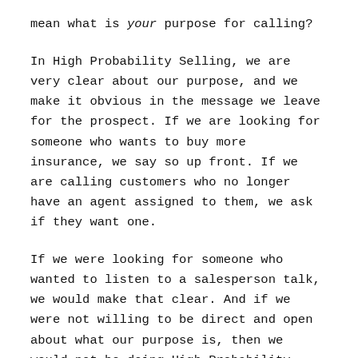mean what is your purpose for calling?
In High Probability Selling, we are very clear about our purpose, and we make it obvious in the message we leave for the prospect. If we are looking for someone who wants to buy more insurance, we say so up front. If we are calling customers who no longer have an agent assigned to them, we ask if they want one.
If we were looking for someone who wanted to listen to a salesperson talk, we would make that clear. And if we were not willing to be direct and open about what our purpose is, then we would not be doing High Probability